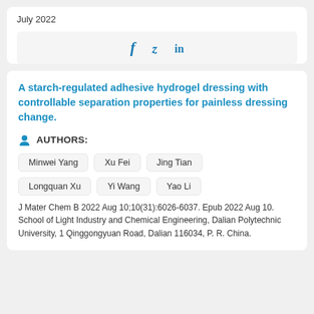July 2022
[Figure (other): Social media sharing icons: Facebook (f), Twitter (bird), LinkedIn (in)]
A starch-regulated adhesive hydrogel dressing with controllable separation properties for painless dressing change.
AUTHORS:
Minwei Yang
Xu Fei
Jing Tian
Longquan Xu
Yi Wang
Yao Li
J Mater Chem B 2022 Aug 10;10(31):6026-6037. Epub 2022 Aug 10.
School of Light Industry and Chemical Engineering, Dalian Polytechnic University, 1 Qinggongyuan Road, Dalian 116034, P. R. China.